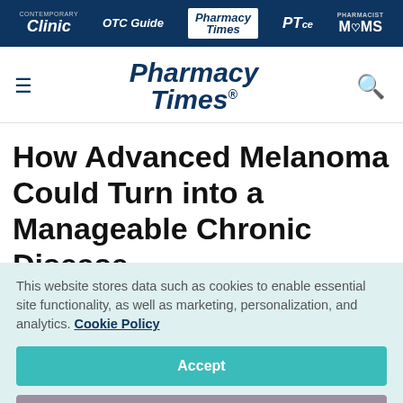Contemporary Clinic | OTC Guide | Pharmacy Times | PTce | Pharmacist Moms
[Figure (logo): Pharmacy Times logo with hamburger menu and search icon]
How Advanced Melanoma Could Turn into a Manageable Chronic Disease
This website stores data such as cookies to enable essential site functionality, as well as marketing, personalization, and analytics. Cookie Policy
Accept
Deny